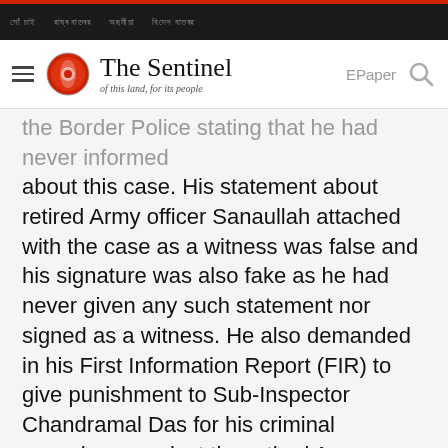nav links (Assamese script navigation bar)
The Sentinel — of this land, for its people | EPaper
the Border Police stating that he had never informed about this case. His statement about retired Army officer Sanaullah attached with the case as a witness was false and his signature was also fake as he had never given any such statement nor signed as a witness. He also demanded in his First Information Report (FIR) to give punishment to Sub-Inspector Chandramal Das for his criminal conspiracy against the retired Army officer. The same story was repeated in case of the other two witnesses, Md. Suwahan Ali and Ajmal Ali from Koloikash village under Chaygaon revenue circle. Both of them in separate FIRs at Boko Police Station stated that they had their...